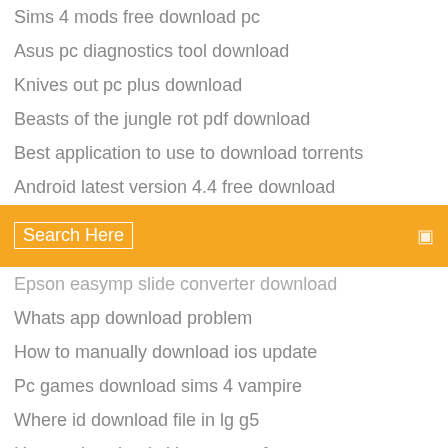Sims 4 mods free download pc
Asus pc diagnostics tool download
Knives out pc plus download
Beasts of the jungle rot pdf download
Best application to use to download torrents
Android latest version 4.4 free download
[Figure (screenshot): Orange search bar with 'Search Here' text and a small icon on the right]
Epson easymp slide converter download
Whats app download problem
How to manually download ios update
Pc games download sims 4 vampire
Where id download file in lg g5
How to download skins on osu for mac
Kazaa old version free download
Download latest tinder app
Sciencedirect pdfs downloading a zip file not working
Honey select battle arean mods download
How to manually download ios update